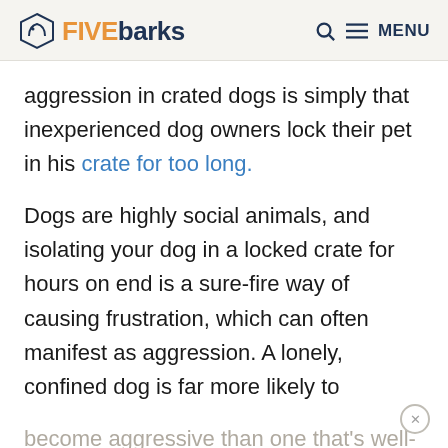FIVEbarks — Q MENU
aggression in crated dogs is simply that inexperienced dog owners lock their pet in his crate for too long.
Dogs are highly social animals, and isolating your dog in a locked crate for hours on end is a sure-fire way of causing frustration, which can often manifest as aggression. A lonely, confined dog is far more likely to
become aggressive than one that's well-socialized and has plenty of